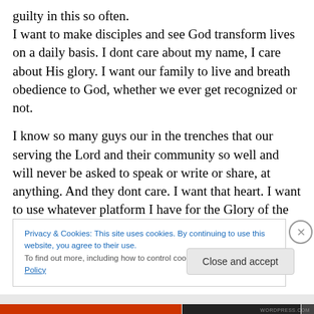guilty in this so often. I want to make disciples and see God transform lives on a daily basis. I dont care about my name, I care about His glory. I want our family to live and breath obedience to God, whether we ever get recognized or not.
I know so many guys our in the trenches that our serving the Lord and their community so well and will never be asked to speak or write or share, at anything. And they dont care. I want that heart. I want to use whatever platform I have for the Glory of the Lord, not so people
Privacy & Cookies: This site uses cookies. By continuing to use this website, you agree to their use.
To find out more, including how to control cookies, see here: Cookie Policy
Close and accept